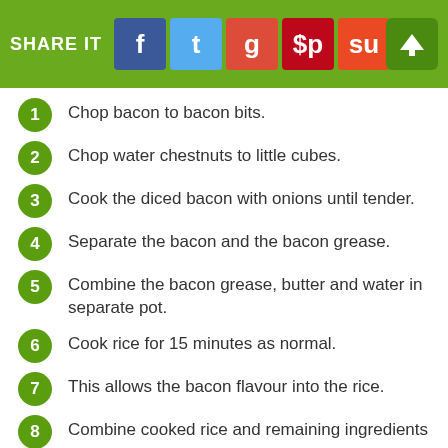SHARE IT
Chop bacon to bacon bits.
Chop water chestnuts to little cubes.
Cook the diced bacon with onions until tender.
Separate the bacon and the bacon grease.
Combine the bacon grease, butter and water in separate pot.
Cook rice for 15 minutes as normal.
This allows the bacon flavour into the rice.
Combine cooked rice and remaining ingredients (truncated)